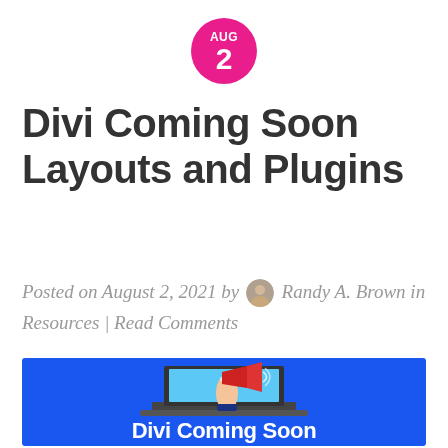[Figure (other): Pink/magenta circular date badge showing AUG 2]
Divi Coming Soon Layouts and Plugins
Posted on August 2, 2021 by Randy A. Brown in Resources | Read Comments
[Figure (illustration): Blue background with illustration of a hand holding a megaphone emerging from a laptop screen, and 'Divi Coming Soon' text at bottom]